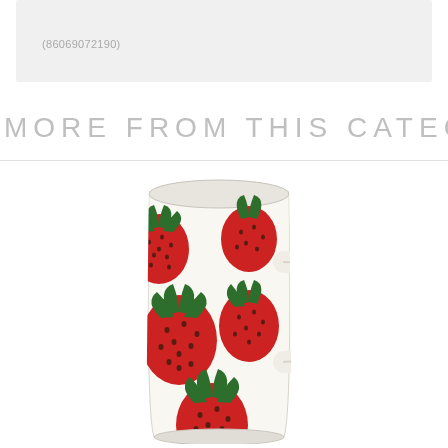(86069072190)
MORE FROM THIS CATEGORY
[Figure (photo): A white ceramic mug decorated with red strawberry pattern with green leaves, featuring a handle on the right side. The mug is tall and tapered.]